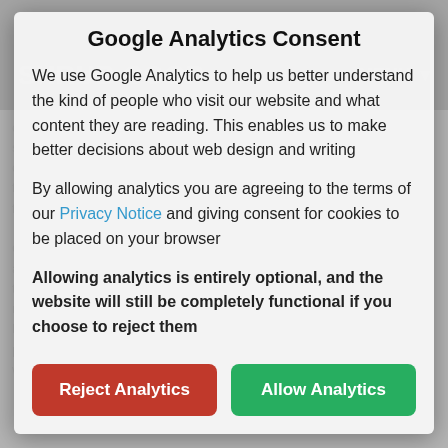[Figure (screenshot): Background screenshot of Shrub Coop website with dark header bar showing 'SHRUB COOP' logo and 'MENU' navigation, and faded article text about clothing donations visible behind the modal overlay.]
Google Analytics Consent
We use Google Analytics to help us better understand the kind of people who visit our website and what content they are reading. This enables us to make better decisions about web design and writing
By allowing analytics you are agreeing to the terms of our Privacy Notice and giving consent for cookies to be placed on your browser
Allowing analytics is entirely optional, and the website will still be completely functional if you choose to reject them
Reject Analytics
Allow Analytics